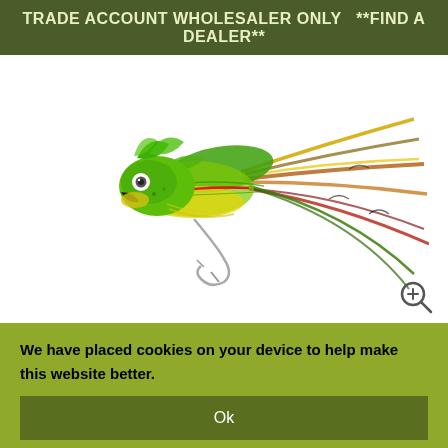TRADE ACCOUNT WHOLESALER ONLY  **FIND A DEALER**
[Figure (photo): A colorful fly fishing lure with a green painted head with a white eye, bright green, yellow, orange, red and brown feathers and fur tied along the body and tail, with a silver hook visible underneath. The fly is positioned horizontally on a white background.]
We have placed cookies on your device to help make this website better.
Ok